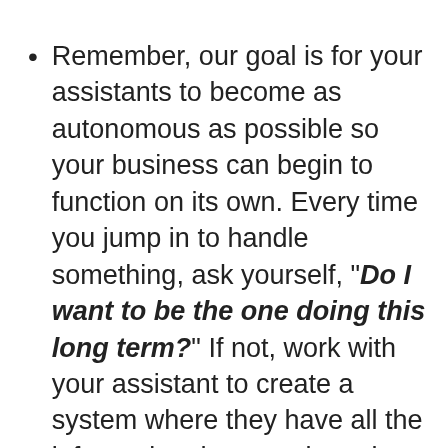Remember, our goal is for your assistants to become as autonomous as possible so your business can begin to function on its own. Every time you jump in to handle something, ask yourself, "Do I want to be the one doing this long term?" If not, work with your assistant to create a system where they have all the information they need to take those actions themselves next time. When you choose to delegate to an assistant, you are delegating the various levels of the decision-making process. The more decisions your assistant can make, the